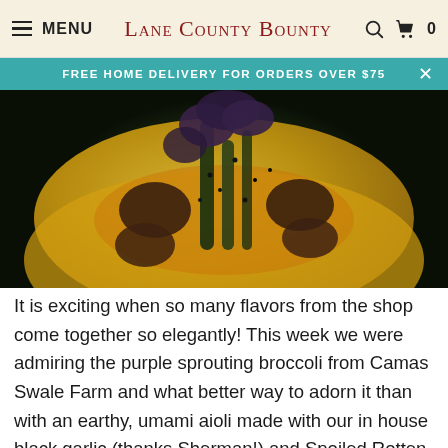MENU  Lane County Bounty  🔍  🛒 0
FREE HOME DELIVERY FOR ORDERS OVER $75
[Figure (photo): A yellow plate with roasted purple sprouting broccoli and dark mushrooms with a sesame sauce on top, served on a wooden surface.]
It is exciting when so many flavors from the shop come together so elegantly! This week we were admiring the purple sprouting broccoli from Camas Swale Farm and what better way to adorn it than with an earthy, umami aioli made with our in house black garlic (thanks Sherman!) and Spoiled Rotten